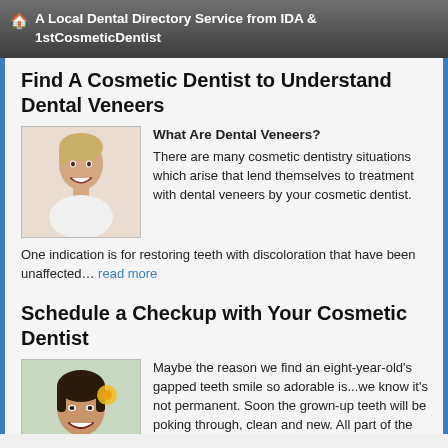🏠 A Local Dental Directory Service from IDA & 1stCosmeticDentist
Find A Cosmetic Dentist to Understand Dental Veneers
What Are Dental Veneers?
[Figure (photo): Smiling woman with short blonde hair]
There are many cosmetic dentistry situations which arise that lend themselves to treatment with dental veneers by your cosmetic dentist. One indication is for restoring teeth with discoloration that have been unaffected... read more
Schedule a Checkup with Your Cosmetic Dentist
[Figure (photo): Smiling woman with dark hair holding a flower near her face]
Maybe the reason we find an eight-year-old's gapped teeth smile so adorable is...we know it's not permanent. Soon the grown-up teeth will be poking through, clean and new. All part of the mouth's natural evolution.